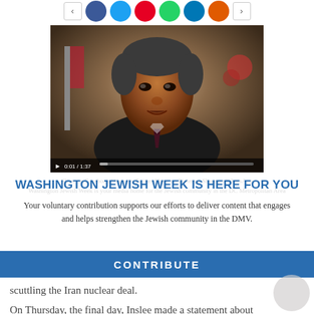[Figure (other): Social share bar with circular colored buttons (Facebook blue, Twitter cyan, Pinterest red, WhatsApp green, LinkedIn blue, email orange) and arrow navigation buttons]
[Figure (photo): Video thumbnail showing a man in a dark suit speaking, with video playback controls showing timestamp 0:01 / 1:37]
WASHINGTON JEWISH WEEK IS HERE FOR YOU
Your voluntary contribution supports our efforts to deliver content that engages and helps strengthen the Jewish community in the DMV.
[Figure (other): Blue CONTRIBUTE button/banner]
scuttling the Iran nuclear deal.
On Thursday, the final day, Inslee made a statement about